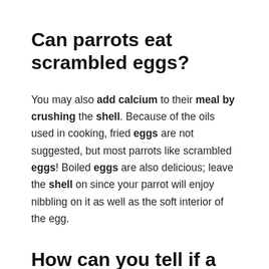Can parrots eat scrambled eggs?
You may also add calcium to their meal by crushing the shell. Because of the oils used in cooking, fried eggs are not suggested, but most parrots like scrambled eggs! Boiled eggs are also delicious; leave the shell on since your parrot will enjoy nibbling on it as well as the soft interior of the egg.
How can you tell if a bird is happy?